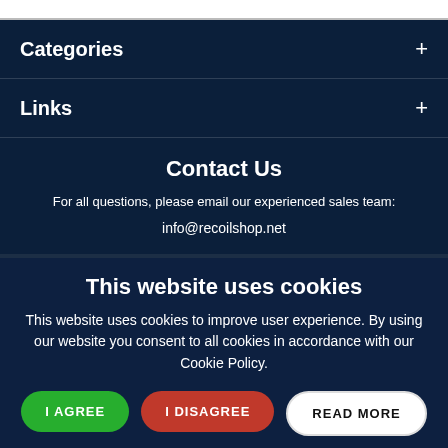Categories
Links
Contact Us
For all questions, please email our experienced sales team:
info@recoilshop.net
This website uses cookies
This website uses cookies to improve user experience. By using our website you consent to all cookies in accordance with our Cookie Policy.
I AGREE
I DISAGREE
READ MORE